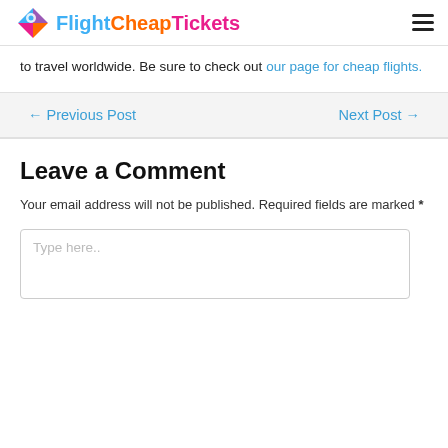FlightCheapTickets
to travel worldwide. Be sure to check out our page for cheap flights.
← Previous Post    Next Post →
Leave a Comment
Your email address will not be published. Required fields are marked *
Type here..